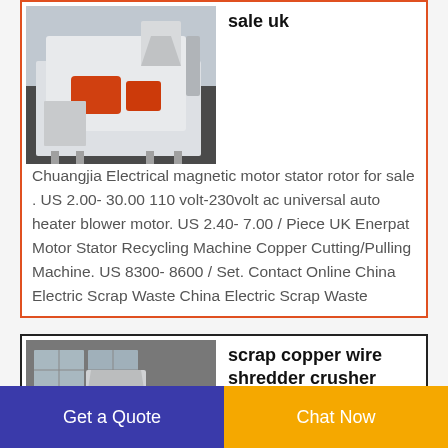[Figure (photo): Industrial motor stator/rotor recycling machine, white with orange/red components, on dark floor background]
sale uk
Chuangjia Electrical magnetic motor stator rotor for sale . US 2.00- 30.00 110 volt-230volt ac universal auto heater blower motor. US 2.40- 7.00 / Piece UK Enerpat Motor Stator Recycling Machine Copper Cutting/Pulling Machine. US 8300- 8600 / Set. Contact Online China Electric Scrap Waste China Electric Scrap Waste
[Figure (photo): Industrial scrap copper wire shredder crusher machine in factory setting, white and red machine components]
scrap copper wire shredder crusher machine scrap copper
Get a Quote
Chat Now